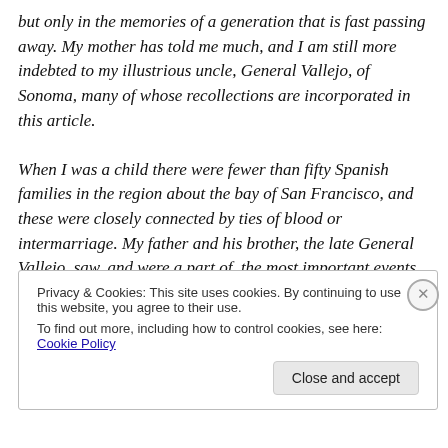but only in the memories of a generation that is fast passing away. My mother has told me much, and I am still more indebted to my illustrious uncle, General Vallejo, of Sonoma, many of whose recollections are incorporated in this article.

When I was a child there were fewer than fifty Spanish families in the region about the bay of San Francisco, and these were closely connected by ties of blood or intermarriage. My father and his brother, the late General Vallejo, saw, and were a part of, the most important events
Privacy & Cookies: This site uses cookies. By continuing to use this website, you agree to their use.
To find out more, including how to control cookies, see here: Cookie Policy